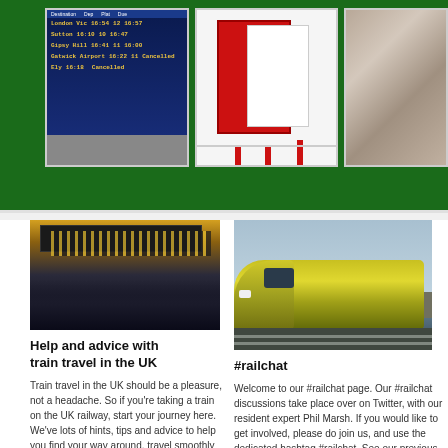[Figure (photo): Three photos in green banner: departure board display, red information notice boards, crowd of people at station]
[Figure (photo): Busy train station interior with large departure boards overhead and crowds of passengers]
[Figure (photo): Yellow and white high-speed train on track approaching camera]
Help and advice with train travel in the UK
Train travel in the UK should be a pleasure, not a headache. So if you're taking a train on the UK railway, start your journey here. We've lots of hints, tips and advice to help you find your way around, travel smoothly and arrive
#railchat
Welcome to our #railchat page. Our #railchat discussions take place over on Twitter, with our resident expert Phil Marsh. If you would like to get involved, please do join us, and use the dedicated hashtag #railchat. See our previous discussions below: